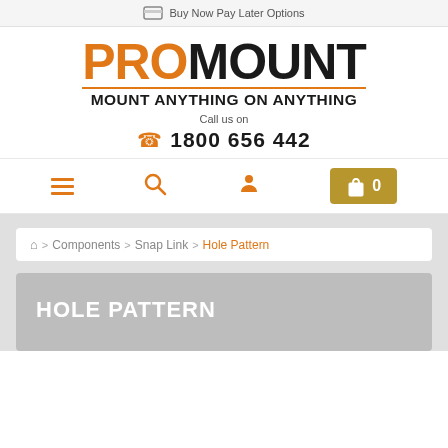Buy Now Pay Later Options
[Figure (logo): ProMount logo with tagline MOUNT ANYTHING ON ANYTHING]
Call us on
1800 656 442
Navigation bar with menu, search, account, and cart icons
Home > Components > Snap Link > Hole Pattern
HOLE PATTERN